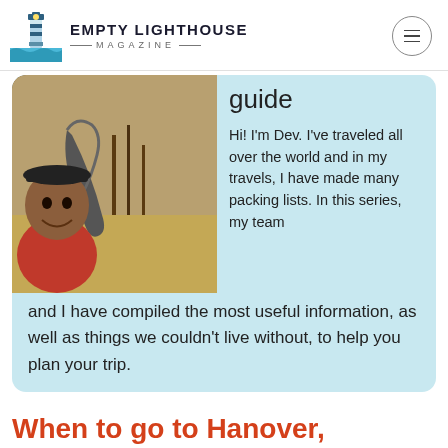EMPTY LIGHTHOUSE MAGAZINE
[Figure (photo): Man smiling with an elephant trunk near his face, outdoors in a dry savanna setting]
guide

Hi! I'm Dev. I've traveled all over the world and in my travels, I have made many packing lists. In this series, my team and I have compiled the most useful information, as well as things we couldn't live without, to help you plan your trip.
When to go to Hanover, Ontario,